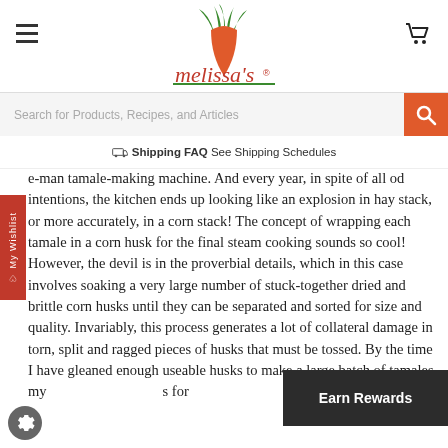[Figure (logo): Melissa's brand logo with green carrot top and red text on white background]
Search for Products, Recipes, and Articles
Shipping FAQ See Shipping Schedules
e-man tamale-making machine. And every year, in spite of all od intentions, the kitchen ends up looking like an explosion in hay stack, or more accurately, in a corn stack! The concept of wrapping each tamale in a corn husk for the final steam cooking sounds so cool! However, the devil is in the proverbial details, which in this case involves soaking a very large number of stuck-together dried and brittle corn husks until they can be separated and sorted for size and quality. Invariably, this process generates a lot of collateral damage in torn, split and ragged pieces of husks that must be tossed. By the time I have gleaned enough useable husks to make a large batch of tamales, my ... is for ... ush with strands of corn husks for week...